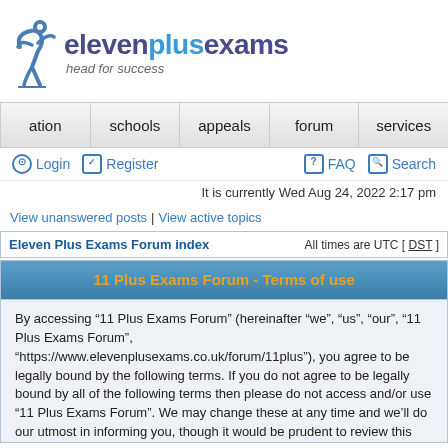[Figure (logo): Eleven Plus Exams logo with figure icon and text 'elevenplusexams head for success']
ation | schools | appeals | forum | services
Login | Register | FAQ | Search
It is currently Wed Aug 24, 2022 2:17 pm
View unanswered posts | View active topics
| Eleven Plus Exams Forum index | All times are UTC [ DST ] |
| --- | --- |
11 Plus Exams Forum - Terms of use
By accessing “11 Plus Exams Forum” (hereinafter “we”, “us”, “our”, “11 Plus Exams Forum”, “https://www.elevenplusexams.co.uk/forum/11plus”), you agree to be legally bound by the following terms. If you do not agree to be legally bound by all of the following terms then please do not access and/or use “11 Plus Exams Forum”. We may change these at any time and we’ll do our utmost in informing you, though it would be prudent to review this